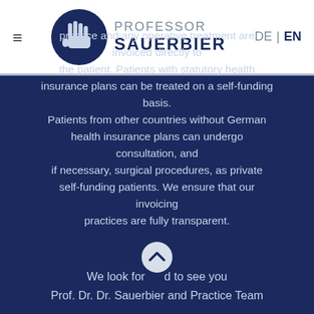[Figure (logo): Professor Sauerbier logo with hand icon in dark blue circle and text PROFESSOR SAUERBIER]
practice and any operative treatment are invoiced directly to the patient. Patients with statutory health insurance plans can be treated on a self-funding basis. Patients from other countries without German health insurance plans can undergo consultation, and if necessary, surgical procedures, as private self-funding patients. We ensure that our invoicing practices are fully transparent.
We look forward to see you
Prof. Dr. Dr. Sauerbier and Practice Team